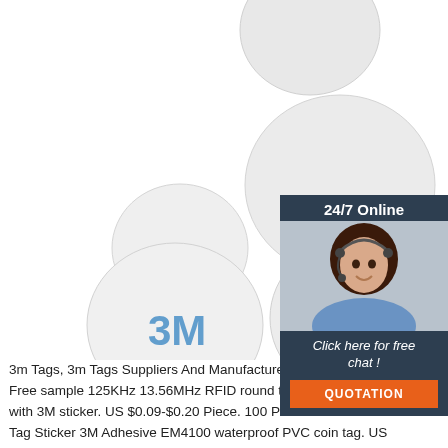[Figure (photo): Product photo showing several white circular RFID/NFC disc tags, some with 3M adhesive tape branding visible in blue]
[Figure (photo): Customer service chat widget with a woman wearing a headset, header reading '24/7 Online', text 'Click here for free chat!' and an orange QUOTATION button]
[Figure (logo): TOP badge logo with orange text and dots above]
3m Tags, 3m Tags Suppliers And Manufacturers At
Free sample 125KHz 13.56MHz RFID round tag RFID NFC disc tag with 3M sticker. US $0.09-$0.20 Piece. 100 Pieces ... RFID 125KHz ID Tag Sticker 3M Adhesive EM4100 waterproof PVC coin tag. US